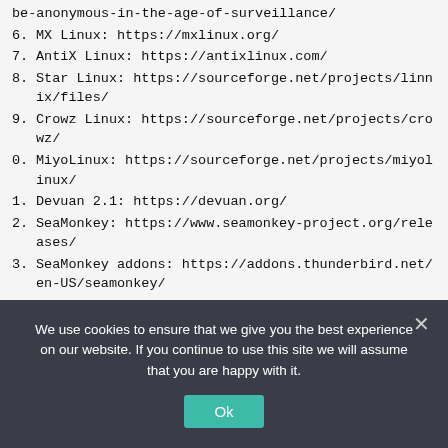be-anonymous-in-the-age-of-surveillance/
6. MX Linux: https://mxlinux.org/
7. AntiX Linux: https://antixlinux.com/
8. Star Linux: https://sourceforge.net/projects/linnix/files/
9. Crowz Linux: https://sourceforge.net/projects/crowz/
0. MiyoLinux: https://sourceforge.net/projects/miyolinux/
1. Devuan 2.1: https://devuan.org/
2. SeaMonkey: https://www.seamonkey-project.org/releases/
3. SeaMonkey addons: https://addons.thunderbird.net/en-US/seamonkey/
4. Add-on Converter for SeaMonkey https://addons.thunderbird.net/en-US/seamonkey/
5. QMPlay2 tips/tricks/tweaks: https://www.facebook.com/groups/486158071994546/
6. Theme music provided by Mark Blasco
We use cookies to ensure that we give you the best experience on our website. If you continue to use this site we will assume that you are happy with it. Ok